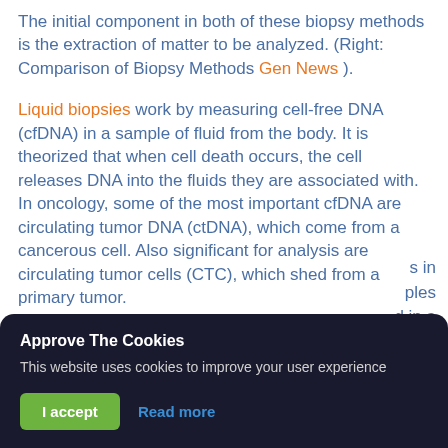The initial component in both of these biopsy methods is the extraction of matter to be analyzed. (Right: Comparison of Biopsy Methods Gen News ).
Liquid biopsies work by measuring cell-free DNA (cfDNA) in a sample of fluid from the body. It is theorized that when cell death occurs, the cell releases DNA into the fluids they are associated with. In oncology, some of the most important cfDNA are circulating tumor DNA (ctDNA), which come from a cancerous cell. Also significant for analysis are circulating tumor cells (CTC), which shed from a primary tumor.
[Figure (screenshot): Cookie consent banner overlay with dark background, title 'Approve The Cookies', description text, 'I accept' green button and 'Read more' blue link. Partially visible text to the right behind the banner.]